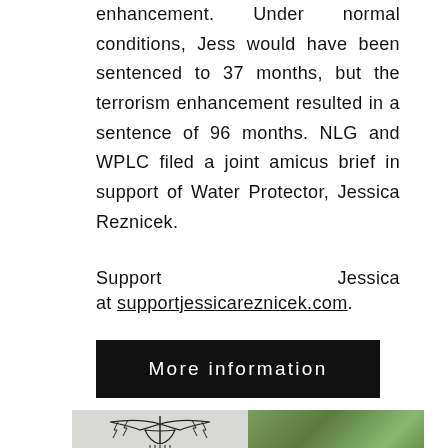enhancement. Under normal conditions, Jess would have been sentenced to 37 months, but the terrorism enhancement resulted in a sentence of 96 months. NLG and WPLC filed a joint amicus brief in support of Water Protector, Jessica Reznicek.
Support Jessica at supportjessicareznicek.com.
More information
[Figure (photo): Two-panel image: left panel shows a thunderbird/lightning figure artwork on a white banner; right panel shows a blonde woman outdoors with green foliage in the background.]